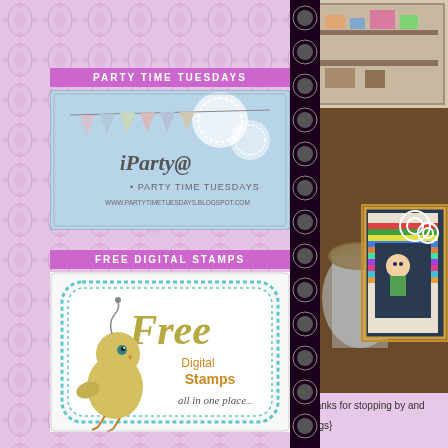PARTY TIME TUESDAYS
[Figure (illustration): iParty@ Party Time Tuesdays banner with bunting flags, www.partytimetuesdays.blogspot.com]
FREE DIGITAL STAMPS
[Figure (illustration): Free Digital Stamps all in one place - logo with cute bird character and teal decorative frame]
[Figure (photo): Top right: partially visible photo of shelves with items]
[Figure (photo): Craft project photo showing a colorful striped card with anime character and gears on a wooden surface with a glass jar]
Thanks for stopping by and
{hugs}